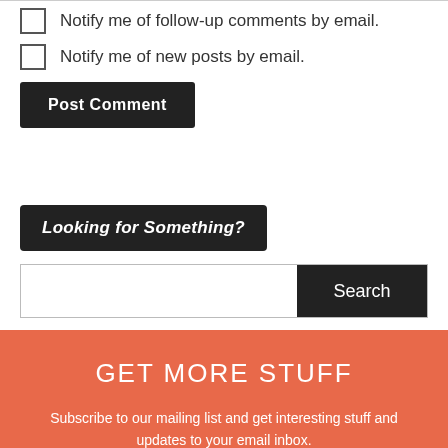Notify me of follow-up comments by email.
Notify me of new posts by email.
Post Comment
Looking for Something?
Search
GET MORE STUFF
Subscribe to our mailing list and get interesting stuff and updates to your email inbox.
Enter your email here